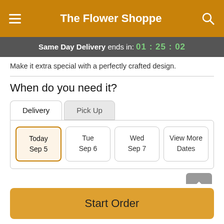The Flower Shoppe
Same Day Delivery ends in: 01:25:02
Make it extra special with a perfectly crafted design.
When do you need it?
Delivery | Pick Up
Today Sep 5 | Tue Sep 6 | Wed Sep 7 | View More Dates
Guaranteed SAFE Checkout
Start Order